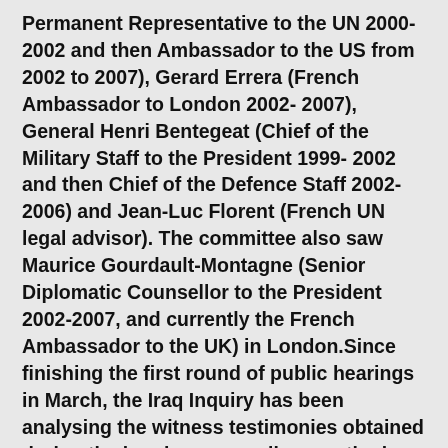Permanent Representative to the UN 2000- 2002 and then Ambassador to the US from 2002 to 2007), Gerard Errera (French Ambassador to London 2002- 2007), General Henri Bentegeat (Chief of the Military Staff to the President 1999- 2002 and then Chief of the Defence Staff 2002-2006) and Jean-Luc Florent (French UN legal advisor). The committee also saw Maurice Gourdault-Montagne (Senior Diplomatic Counsellor to the President 2002-2007, and currently the French Ambassador to the UK) in London.Since finishing the first round of public hearings in March, the Iraq Inquiry has been analysing the witness testimonies obtained during the hearings, as well as continuing to examine many thousands of highly classified government documents. The next round of public hearings is due to start in the summer. Hearing dates and details of witnesses will be released soon.March 7th, Iraq held elections (early voting started a few days before that). Ayad Allawi's political slate Iraqiya won the most seats in Parliament (91), followed by Nouri al-Maliki's State Of Law (89). Nouri then worked overtime to discredit Allawi's win while he went to work circumventing the Constitution before joining a coalition. This...